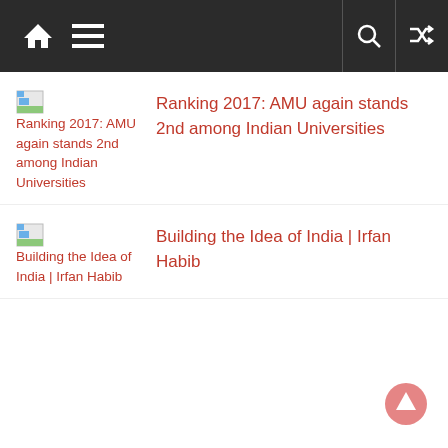Navigation bar with home, menu, search, and shuffle icons
Ranking 2017: AMU again stands 2nd among Indian Universities
Building the Idea of India | Irfan Habib